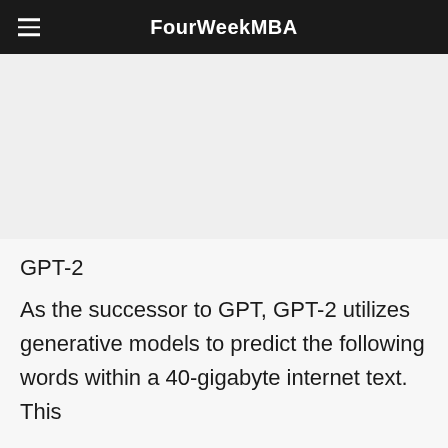FourWeekMBA
[Figure (photo): Image placeholder / article image area]
GPT-2
As the successor to GPT, GPT-2 utilizes generative models to predict the following words within a 40-gigabyte internet text. This